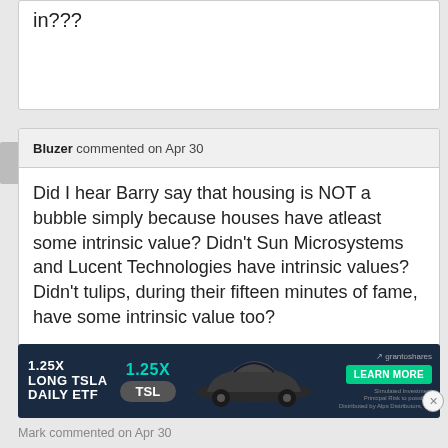in???
Bluzer commented on Apr 30
Did I hear Barry say that housing is NOT a bubble simply because houses have atleast some intrinsic value? Didn't Sun Microsystems and Lucent Technologies have intrinsic values? Didn't tulips, during their fifteen minutes of fame, have some intrinsic value too?
[Figure (screenshot): Advertisement banner for 1.25X Long TSLA Daily ETF with a Tesla car image and Learn More button]
Mark commented on Apr 30